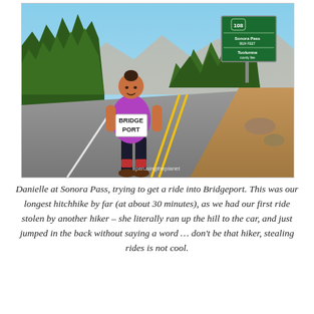[Figure (photo): A woman standing on a mountain highway at Sonora Pass, holding a handwritten sign that reads 'BRIDGEPORT'. She is wearing a purple tank top and black shorts. Behind her is a green highway sign for Sonora Pass (elevation 9624 ft) and Tuolumne County Line, with trees and mountains in the background. A watermark reads 'perusingtheplanet'.]
Danielle at Sonora Pass, trying to get a ride into Bridgeport. This was our longest hitchhike by far (at about 30 minutes), as we had our first ride stolen by another hiker – she literally ran up the hill to the car, and just jumped in the back without saying a word … don't be that hiker, stealing rides is not cool.